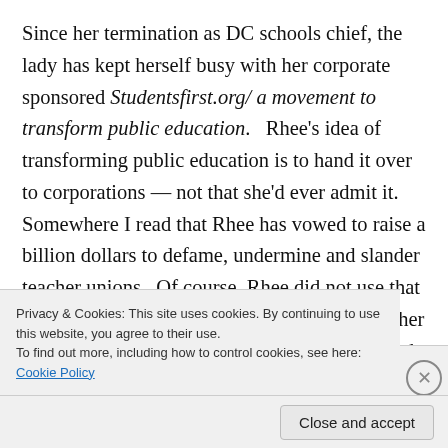Since her termination as DC schools chief, the lady has kept herself busy with her corporate sponsored Studentsfirst.org/ a movement to transform public education.   Rhee's idea of transforming public education is to hand it over to corporations — not that she'd ever admit it.    Somewhere I read that Rhee has vowed to raise a billion dollars to defame, undermine and slander teacher unions   Of course, Rhee did not use that language even as that is exactly what she and her employers in the corporate  reform movement do and can do...
Privacy & Cookies: This site uses cookies. By continuing to use this website, you agree to their use.
To find out more, including how to control cookies, see here: Cookie Policy
Close and accept